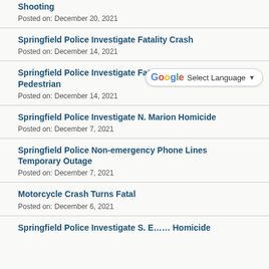Shooting
Posted on: December 20, 2021
Springfield Police Investigate Fatality Crash
Posted on: December 14, 2021
Springfield Police Investigate Fata… Pedestrian
Posted on: December 14, 2021
Springfield Police Investigate N. Marion Homicide
Posted on: December 7, 2021
Springfield Police Non-emergency Phone Lines Temporary Outage
Posted on: December 7, 2021
Motorcycle Crash Turns Fatal
Posted on: December 6, 2021
Springfield Police Investigate S. E…… Homicide